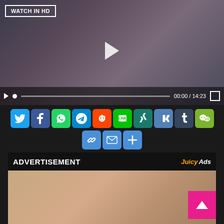[Figure (screenshot): Video player showing a young woman in a Halloween witch costume with silver hair and black hat. Controls bar at bottom showing 00:00/14:23 timestamp. WATCH IN HD button in top left.]
[Figure (screenshot): Social media share buttons row: Twitter (blue), Facebook (blue), WhatsApp (green), Telegram (teal), Reddit (orange), LINE (green), Xing (dark teal), VK (steel blue), Tumblr (gray-blue), WeChat (green)]
[Figure (screenshot): Second row of share buttons: Copy link (blue), Email (blue), Add more (blue)]
ADVERTISEMENT
[Figure (photo): Advertisement image showing adult content thumbnail with JuicyAds branding in header]